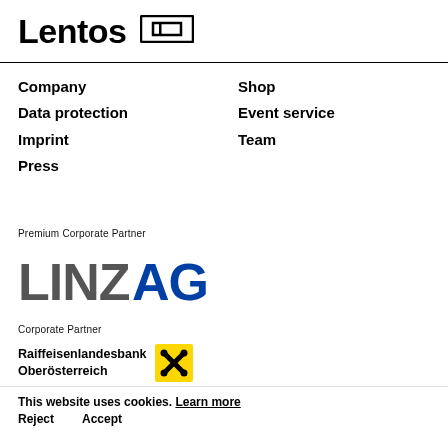Lentos
Company
Data protection
Imprint
Press
Shop
Event service
Team
Premium Corporate Partner
[Figure (logo): LINZ AG logo with LINZ in dark grey and AG in blue bold uppercase text]
Corporate Partner
[Figure (logo): Raiffeisenlandesbank Oberösterreich logo with yellow Raiffeisen X symbol]
[Figure (logo): Partial logo at bottom, partially visible]
This website uses cookies. Learn more
Reject    Accept